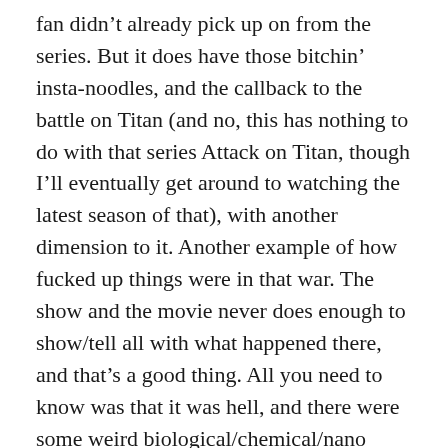fan didn't already pick up on from the series. But it does have those bitchin' insta-noodles, and the callback to the battle on Titan (and no, this has nothing to do with that series Attack on Titan, though I'll eventually get around to watching the latest season of that), with another dimension to it. Another example of how fucked up things were in that war. The show and the movie never does enough to show/tell all with what happened there, and that's a good thing. All you need to know was that it was hell, and there were some weird biological/chemical/nano experiments utilized on some of the soldiers in some of the battles. It's more of a background thing among a bunch of other background elements in both the movie and the series. It has enough subtle